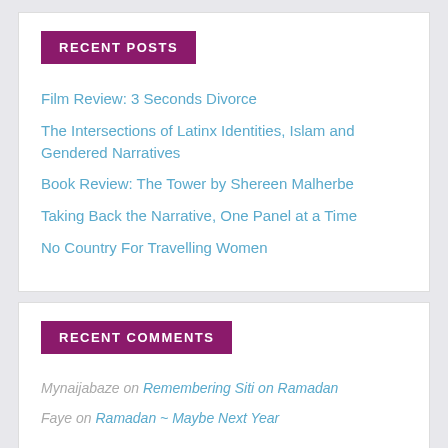RECENT POSTS
Film Review: 3 Seconds Divorce
The Intersections of Latinx Identities, Islam and Gendered Narratives
Book Review: The Tower by Shereen Malherbe
Taking Back the Narrative, One Panel at a Time
No Country For Travelling Women
RECENT COMMENTS
Mynaijabaze on Remembering Siti on Ramadan
Faye on Ramadan ~ Maybe Next Year